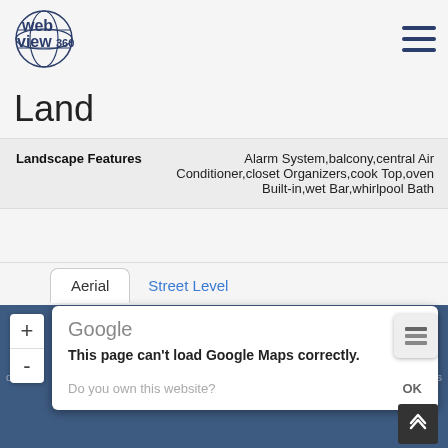[Figure (logo): WebView360 logo - circular globe/web design with text 'web view360' in dark navy]
Land
| Landscape Features |  |
| --- | --- |
| Landscape Features | Alarm System,balcony,central Air Conditioner,closet Organizers,cook Top,oven Built-in,wet Bar,whirlpool Bath |
Aerial | Street Level
[Figure (screenshot): Google Maps embed showing error dialog: 'This page can't load Google Maps correctly.' with 'Do you own this website?' and OK button. Map background is dark blue. Zoom controls (+/-) visible on left. Layer button on right.]